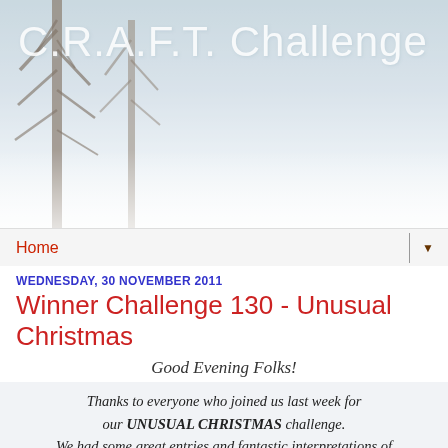[Figure (photo): Winter scene with snow-covered trees against a pale misty sky, used as website header background]
C.R.A.F.T. Challenge
Home ▼
WEDNESDAY, 30 NOVEMBER 2011
Winner Challenge 130 - Unusual Christmas
Good Evening Folks!
Thanks to everyone who joined us last week for our UNUSUAL CHRISTMAS challenge. We had some great entries and fantastic interpretations of the theme - the DT enjoyed visiting your blogs!! Now I know you'd all like to know if you are a winner so get your fingers crossed.....
Our first prize this week is a £10 voucher for Craft